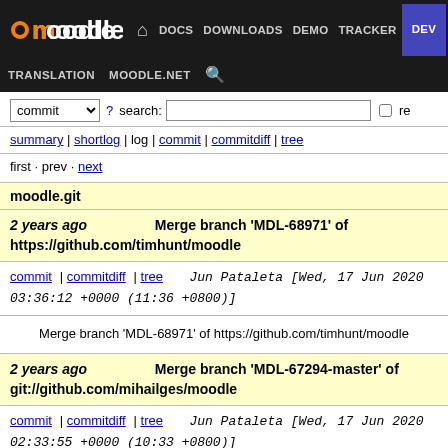moodle DOCS DOWNLOADS DEMO TRACKER DEV TRANSLATION MOODLE.NET
commit ? search: re
summary | shortlog | log | commit | commitdiff | tree
first · prev · next
moodle.git
2 years ago   Merge branch 'MDL-68971' of https://github.com/timhunt/moodle
commit | commitdiff | tree   Jun Pataleta [Wed, 17 Jun 2020 03:36:12 +0000 (11:36 +0800)]
Merge branch 'MDL-68971' of https://github.com/timhunt/moodle
2 years ago   Merge branch 'MDL-67294-master' of git://github.com/mihailges/moodle
commit | commitdiff | tree   Jun Pataleta [Wed, 17 Jun 2020 02:33:55 +0000 (10:33 +0800)]
Merge branch 'MDL-67294-master' of git://github.com/mihailges/moodle